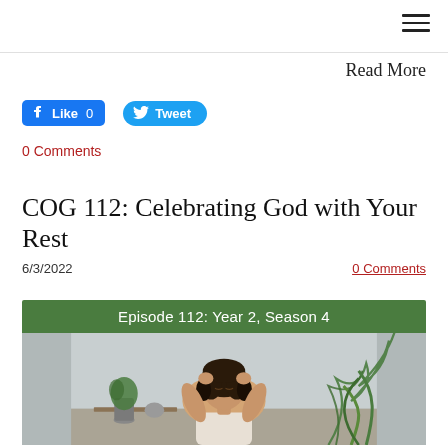Read More
[Figure (other): Facebook Like button (0 likes) and Twitter Tweet button]
0 Comments
COG 112: Celebrating God with Your Rest
6/3/2022
0 Comments
[Figure (photo): Podcast episode image with green banner reading 'Episode 112: Year 2, Season 4' and a woman relaxing with hands behind her head, eyes closed, indoors with plants visible]